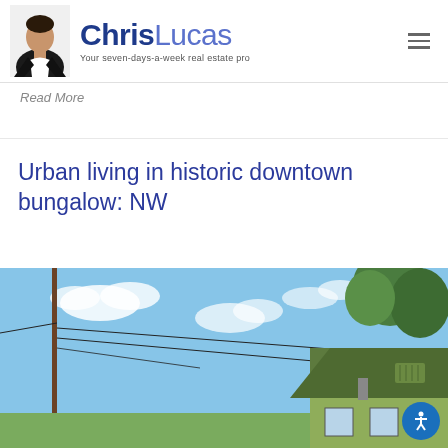ChrisLucas — Your seven-days-a-week real estate pro
Read More
Urban living in historic downtown bungalow: NW
[Figure (photo): Exterior photo of a historic green bungalow with a utility pole and power lines in the foreground, blue sky with clouds, and trees visible at top right]